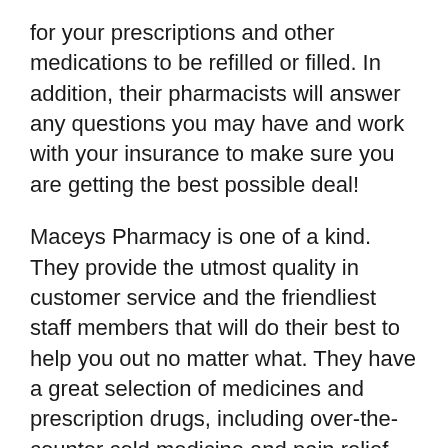for your prescriptions and other medications to be refilled or filled. In addition, their pharmacists will answer any questions you may have and work with your insurance to make sure you are getting the best possible deal!
Maceys Pharmacy is one of a kind. They provide the utmost quality in customer service and the friendliest staff members that will do their best to help you out no matter what. They have a great selection of medicines and prescription drugs, including over-the-counter cold medicine and pain relief medication. Many people pick up prescriptions from Maceys since they can save money by buying in bulk with their savings club card!
Macey's also provides free delivery on all your pharmacy needs, making it even more convenient for its customers! You don't need an appointment, so there is no waiting either. You just walk right in and let them know what